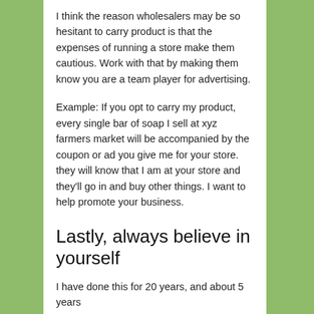I think the reason wholesalers may be so hesitant to carry product is that the expenses of running a store make them cautious. Work with that by making them know you are a team player for advertising.
Example: If you opt to carry my product, every single bar of soap I sell at xyz farmers market will be accompanied by the coupon or ad you give me for your store. they will know that I am at your store and they'll go in and buy other things. I want to help promote your business.
Lastly, always believe in yourself
I have done this for 20 years, and about 5 years